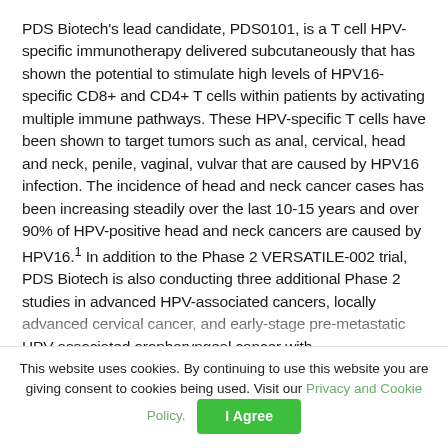PDS Biotech's lead candidate, PDS0101, is a T cell HPV-specific immunotherapy delivered subcutaneously that has shown the potential to stimulate high levels of HPV16-specific CD8+ and CD4+ T cells within patients by activating multiple immune pathways. These HPV-specific T cells have been shown to target tumors such as anal, cervical, head and neck, penile, vaginal, vulvar that are caused by HPV16 infection. The incidence of head and neck cancer cases has been increasing steadily over the last 10-15 years and over 90% of HPV-positive head and neck cancers are caused by HPV16.¹ In addition to the Phase 2 VERSATILE-002 trial, PDS Biotech is also conducting three additional Phase 2 studies in advanced HPV-associated cancers, locally advanced cervical cancer, and early-stage pre-metastatic HPV-associated oropharyngeal cancer with
This website uses cookies. By continuing to use this website you are giving consent to cookies being used. Visit our Privacy and Cookie Policy.